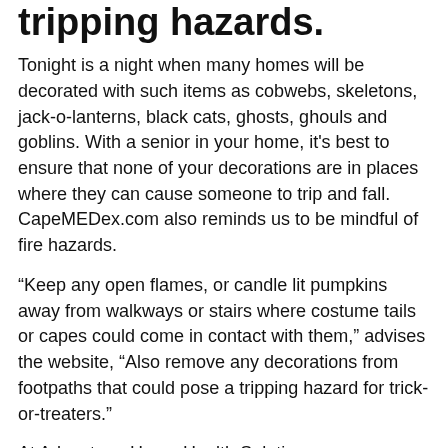tripping hazards.
Tonight is a night when many homes will be decorated with such items as cobwebs, skeletons, jack-o-lanterns, black cats, ghosts, ghouls and goblins. With a senior in your home, it's best to ensure that none of your decorations are in places where they can cause someone to trip and fall. CapeMEDex.com also reminds us to be mindful of fire hazards.
“Keep any open flames, or candle lit pumpkins away from walkways or stairs where costume tails or capes could come in contact with them,” advises the website, “Also remove any decorations from footpaths that could pose a tripping hazard for trick-or-treaters.”
At Advantage Home Health Solutions, we care a great deal about the safety of seniors. As a result, we proudly offer a wide array of mobility solutions to help optimize their safety. For more information, please don’t hesitate to give us a call at 403.460.5438. You may also